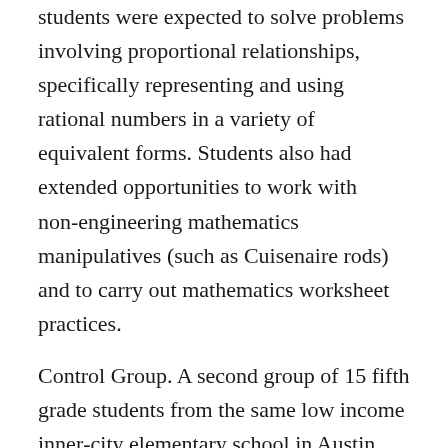students were expected to solve problems involving proportional relationships, specifically representing and using rational numbers in a variety of equivalent forms. Students also had extended opportunities to work with non-engineering mathematics manipulatives (such as Cuisenaire rods) and to carry out mathematics worksheet practices.
Control Group. A second group of 15 fifth grade students from the same low income inner-city elementary school in Austin, Texas participated as the control group. Control students participated in a 15-hour non-engineering mathematics intervention program through which they received mathematics instruction in ratio and proportion based on the school district adopted textbook. This program was also